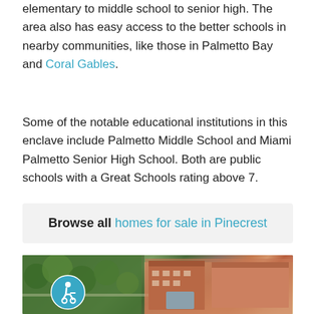elementary to middle school to senior high. The area also has easy access to the better schools in nearby communities, like those in Palmetto Bay and Coral Gables.
Some of the notable educational institutions in this enclave include Palmetto Middle School and Miami Palmetto Senior High School. Both are public schools with a Great Schools rating above 7.
Browse all homes for sale in Pinecrest
[Figure (photo): Aerial view of Pinecrest/Coral Gables area showing green tree canopy on the left and large buildings with orange/terracotta rooftops on the right]